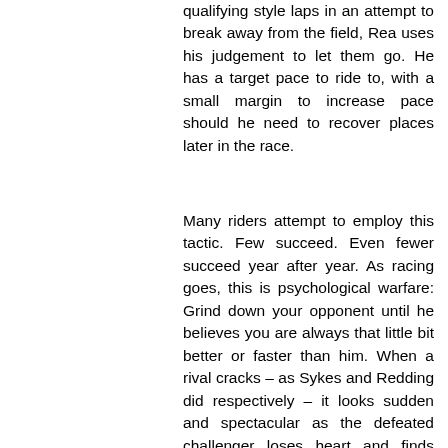qualifying style laps in an attempt to break away from the field, Rea uses his judgement to let them go. He has a target pace to ride to, with a small margin to increase pace should he need to recover places later in the race.
Many riders attempt to employ this tactic. Few succeed. Even fewer succeed year after year. As racing goes, this is psychological warfare: Grind down your opponent until he believes you are always that little bit better or faster than him. When a rival cracks – as Sykes and Redding did respectively – it looks sudden and spectacular as the defeated challenger loses heart and finds himself falling back through the field – or worse crashing out.